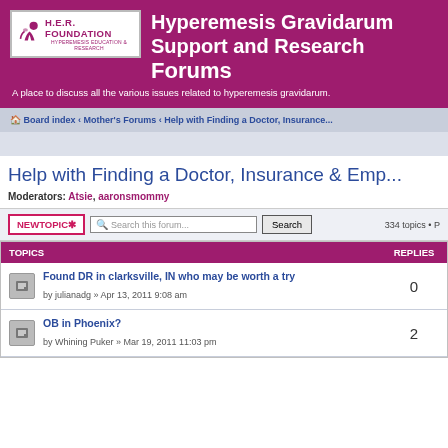[Figure (logo): H.E.R. Foundation logo with stylized figure and text 'HYPEREMESIS EDUCATION & RESEARCH']
Hyperemesis Gravidarum Support and Research Forums
A place to discuss all the various issues related to hyperemesis gravidarum.
Board index ‹ Mother's Forums ‹ Help with Finding a Doctor, Insurance...
Help with Finding a Doctor, Insurance & Emp...
Moderators: Atsie, aaronsmommy
NEWTOPIC* | Search this forum... | Search | 334 topics • P
| TOPICS | REPLIES |
| --- | --- |
| Found DR in clarksville, IN who may be worth a try
by julianadg » Apr 13, 2011 9:08 am | 0 |
| OB in Phoenix?
by Whining Puker » Mar 19, 2011 11:03 pm | 2 |